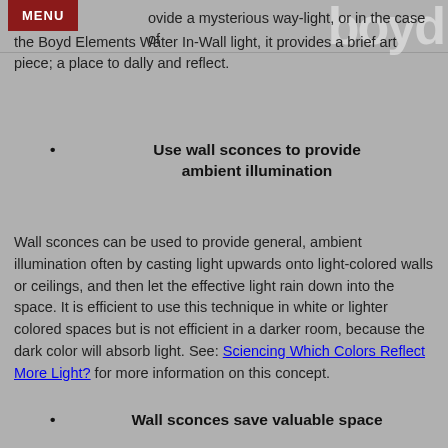MENU  boyd
ovide a mysterious way-light, or in the case of the Boyd Elements Water In-Wall light, it provides a brief art piece; a place to dally and reflect.
Use wall sconces to provide ambient illumination
Wall sconces can be used to provide general, ambient illumination often by casting light upwards onto light-colored walls or ceilings, and then let the effective light rain down into the space. It is efficient to use this technique in white or lighter colored spaces but is not efficient in a darker room, because the dark color will absorb light. See: Sciencing Which Colors Reflect More Light? for more information on this concept.
Wall sconces save valuable space